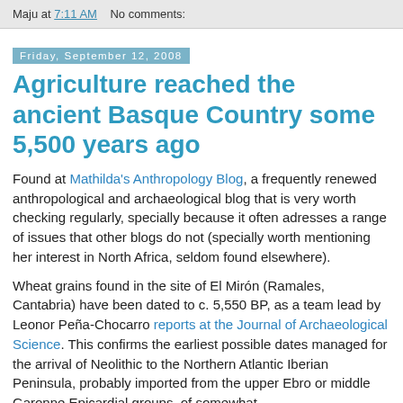Maju at 7:11 AM   No comments:
Friday, September 12, 2008
Agriculture reached the ancient Basque Country some 5,500 years ago
Found at Mathilda's Anthropology Blog, a frequently renewed anthropological and archaeological blog that is very worth checking regularly, specially because it often adresses a range of issues that other blogs do not (specially worth mentioning her interest in North Africa, seldom found elsewhere).
Wheat grains found in the site of El Mirón (Ramales, Cantabria) have been dated to c. 5,550 BP, as a team lead by Leonor Peña-Chocarro reports at the Journal of Archaeological Science. This confirms the earliest possible dates managed for the arrival of Neolithic to the Northern Atlantic Iberian Peninsula, probably imported from the upper Ebro or middle Garonne Epicardial groups, of somewhat